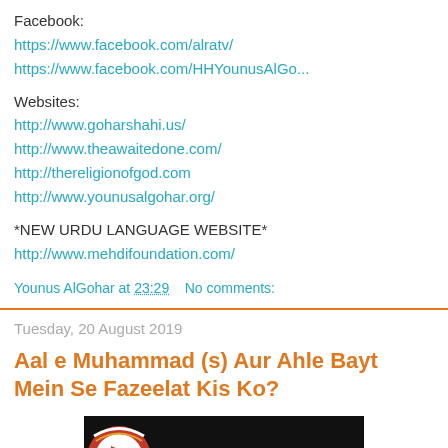Facebook:
https://www.facebook.com/alratv/
https://www.facebook.com/HHYounusAlGo...
Websites:
http://www.goharshahi.us/
http://www.theawaitedone.com/
http://thereligionofgod.com
http://www.younusalgohar.org/
*NEW URDU LANGUAGE WEBSITE*
http://www.mehdifoundation.com/
Younus AlGohar at 23:29   No comments:
Tuesday, 20 August 2019
Aal e Muhammad (s) Aur Ahle Bayt Mein Se Fazeelat Kis Ko?
[Figure (photo): Video thumbnail with logo on dark background]